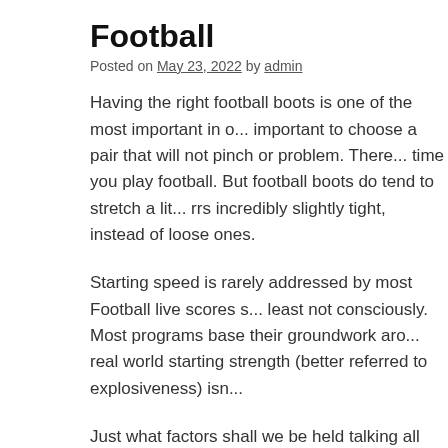Football
Posted on May 23, 2022 by admin
Having the right football boots is one of the most important in o... important to choose a pair that will not pinch or problem. There... time you play football. But football boots do tend to stretch a lit... rrs incredibly slightly tight, instead of loose ones.
Starting speed is rarely addressed by most Football live scores s... least not consciously. Most programs base their groundwork aro... real world starting strength (better referred to as explosiveness) isn...
Just what factors shall we be held talking all about? Well, the pl... find not a new starting pitcher, but a new relief staff as sufficien... significant difference in a baseball game, and significantly alter... professional baseball season in particular is a long one, and that... to occur throughout the lineup from game to game. Good sports... of can be playing what for each game!